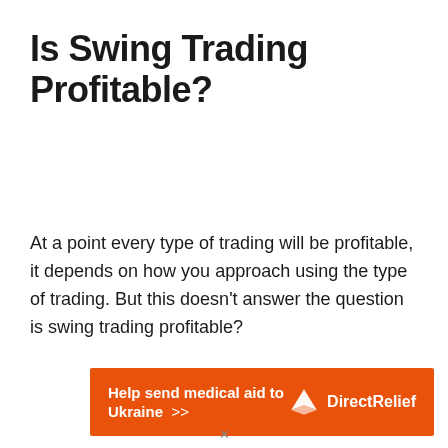Is Swing Trading Profitable?
At a point every type of trading will be profitable, it depends on how you approach using the type of trading. But this doesn’t answer the question is swing trading profitable?
[Figure (infographic): Orange advertisement banner reading 'Help send medical aid to Ukraine >>' with Direct Relief logo on the right side]